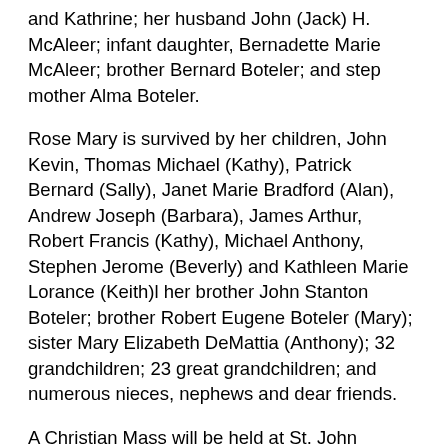and Kathrine; her husband John (Jack) H. McAleer; infant daughter, Bernadette Marie McAleer; brother Bernard Boteler; and step mother Alma Boteler.
Rose Mary is survived by her children, John Kevin, Thomas Michael (Kathy), Patrick Bernard (Sally), Janet Marie Bradford (Alan), Andrew Joseph (Barbara), James Arthur, Robert Francis (Kathy), Michael Anthony, Stephen Jerome (Beverly) and Kathleen Marie Lorance (Keith)l her brother John Stanton Boteler; brother Robert Eugene Boteler (Mary); sister Mary Elizabeth DeMattia (Anthony); 32 grandchildren; 23 great grandchildren; and numerous nieces, nephews and dear friends.
A Christian Mass will be held at St. John Neumann in Berlin on Tuesday, April 19 at 11 a.m. On Wednesday, April 20, from 10:30-11:30 a.m. a viewing will be held followed by a memorial mass at 11:30 a.m. at St. Patrick Catholic Church, Norbeck, Md. Burial at Gate of Heaven Cemetery